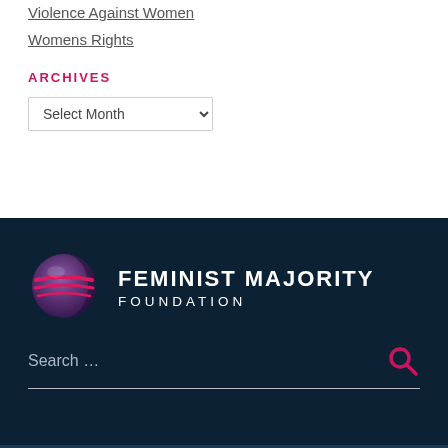Violence Against Women
Womens Rights
ARCHIVES
Select Month (dropdown)
[Figure (logo): Feminist Majority Foundation logo: globe icon in purple/pink tones with white text reading FEMINIST MAJORITY FOUNDATION on dark navy background]
Search …